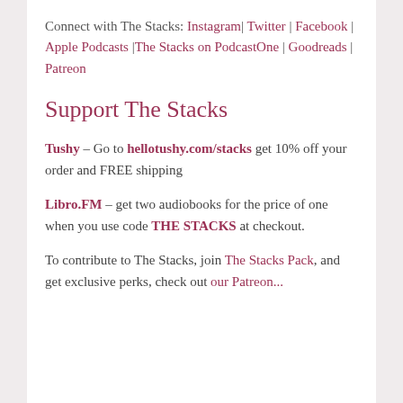Connect with The Stacks: Instagram| Twitter | Facebook | Apple Podcasts |The Stacks on PodcastOne | Goodreads | Patreon
Support The Stacks
Tushy – Go to hellotushy.com/stacks get 10% off your order and FREE shipping
Libro.FM – get two audiobooks for the price of one when you use code THE STACKS at checkout.
To contribute to The Stacks, join The Stacks Pack, and get exclusive perks, check out our Patreon...